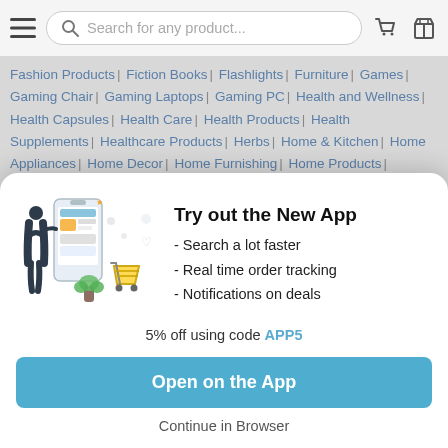[Figure (screenshot): Mobile app top navigation bar with hamburger menu, search bar reading 'Search for any product...', cart icon, and box/package icon]
Fashion Products | Fiction Books | Flashlights | Furniture | Games | Gaming Chair | Gaming Laptops | Gaming PC | Health and Wellness | Health Capsules | Health Care | Health Products | Health Supplements | Healthcare Products | Herbs | Home & Kitchen | Home Appliances | Home Decor | Home Furnishing | Home Products | Juicers | Kid's Furniture | Kitchen Appliances | Kitchen Items | Kitchen Products | Kitchen Utensils | ...
[Figure (illustration): Illustration of a woman standing in front of a large smartphone showing a shopping app, with a potted plant and a shopping cart on the right]
Try out the New App
- Search a lot faster
- Real time order tracking
- Notifications on deals
5% off using code APP5
Open on the App
Continue in Browser